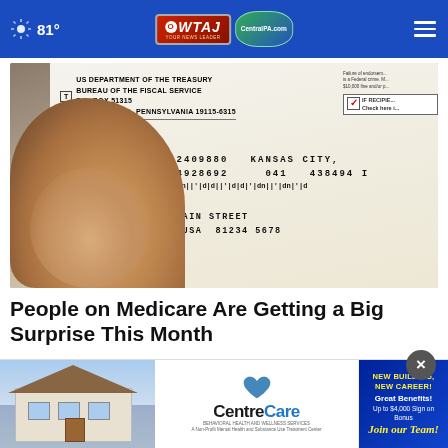81° | WTAJ Your News Leader | CentralPA.com
[Figure (photo): A hand holding a U.S. Treasury check from the Bureau of the Fiscal Service, P.O. Box 51315, Philadelphia, Pennsylvania 19115-6315, addressed to JOHN OE, 1234 MAIN STREET, ANYTOWN USA 81234 5678. Routing numbers: 04 24 20 2409880, Kansas City, 041 438494, 08464928692.]
People on Medicare Are Getting a Big Surprise This Month
Every...
[Figure (advertisement): CentreCare behavioral health and wellness services advertisement with house image on left, CentreCare logo in center, and blue advertisement on right: NEW BUILDING, NEW CAREER! Great Benefits! Up to $4,000 Sign on Bonus Join our Team!]